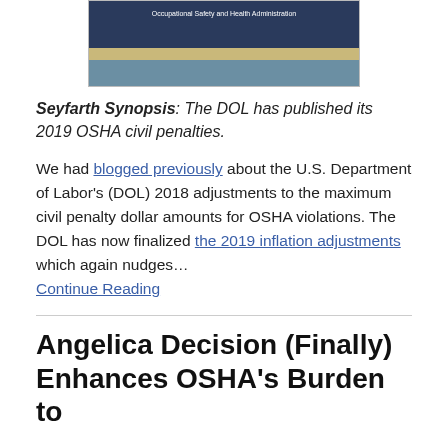[Figure (photo): Photo of a laptop showing OSHA (Occupational Safety and Health Administration) website, with a stethoscope and books nearby on a wooden surface.]
Seyfarth Synopsis: The DOL has published its 2019 OSHA civil penalties.
We had blogged previously about the U.S. Department of Labor's (DOL) 2018 adjustments to the maximum civil penalty dollar amounts for OSHA violations. The DOL has now finalized the 2019 inflation adjustments which again nudges… Continue Reading
Angelica Decision (Finally) Enhances OSHA's Burden to